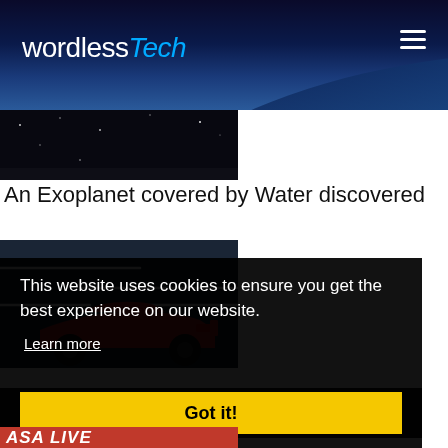wordlessTech
[Figure (photo): Space/Earth atmosphere photo used as website header background]
[Figure (photo): Dark space image strip showing star field]
An Exoplanet covered by Water discovered
[Figure (photo): Red racing car (Audi) with white light streaks on dark background]
This website uses cookies to ensure you get the best experience on our website.
Learn more
Got it!
[Figure (photo): Partial red banner with text 'NASA LIVE' partially visible at bottom]